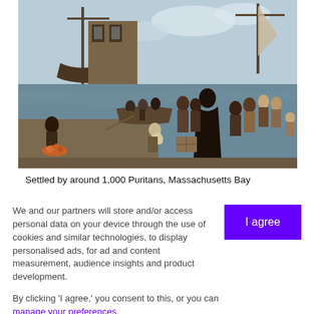[Figure (illustration): Historical oil painting depicting Puritan settlers boarding boats at a harbor, with ships in the background and crowds of people on the dock]
Settled by around 1,000 Puritans, Massachusetts Bay
We and our partners will store and/or access personal data on your device through the use of cookies and similar technologies, to display personalised ads, for ad and content measurement, audience insights and product development.
By clicking 'I agree,' you consent to this, or you can manage your preferences.